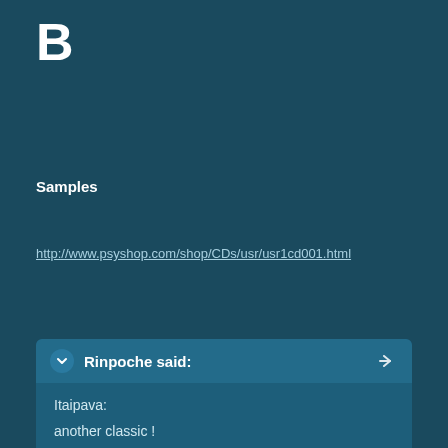B
Samples
http://www.psyshop.com/shop/CDs/usr/usr1cd001.html
Rinpoche said:
Itaipava:
another classic !